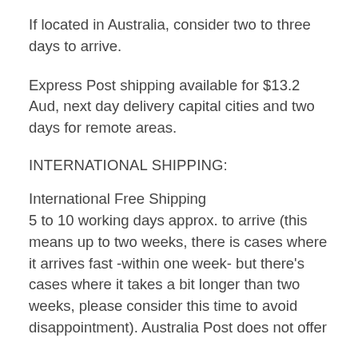If located in Australia, consider two to three days to arrive.
Express Post shipping available for $13.2 Aud, next day delivery capital cities and two days for remote areas.
INTERNATIONAL SHIPPING:
International Free Shipping
5 to 10 working days approx. to arrive (this means up to two weeks, there is cases where it arrives fast -within one week- but there's cases where it takes a bit longer than two weeks, please consider this time to avoid disappointment). Australia Post does not offer